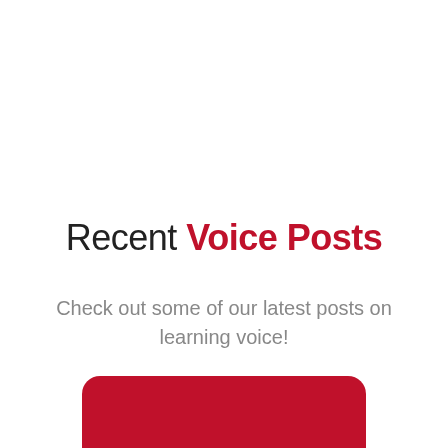Recent Voice Posts
Check out some of our latest posts on learning voice!
[Figure (other): Red rounded rectangle card at the bottom of the page, partially cut off]